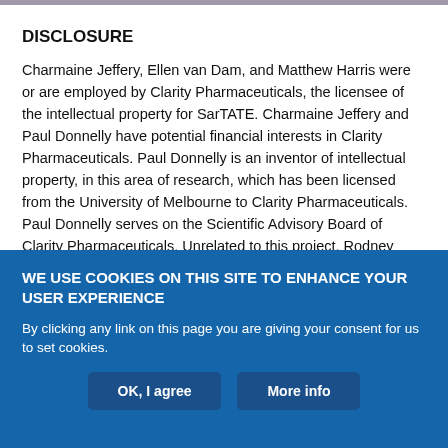DISCLOSURE
Charmaine Jeffery, Ellen van Dam, and Matthew Harris were or are employed by Clarity Pharmaceuticals, the licensee of the intellectual property for SarTATE. Charmaine Jeffery and Paul Donnelly have potential financial interests in Clarity Pharmaceuticals. Paul Donnelly is an inventor of intellectual property, in this area of research, which has been licensed from the University of Melbourne to Clarity Pharmaceuticals. Paul Donnelly serves on the Scientific Advisory Board of Clarity Pharmaceuticals. Unrelated to this project, Rodney
WE USE COOKIES ON THIS SITE TO ENHANCE YOUR USER EXPERIENCE
By clicking any link on this page you are giving your consent for us to set cookies.
OK, I agree
More info